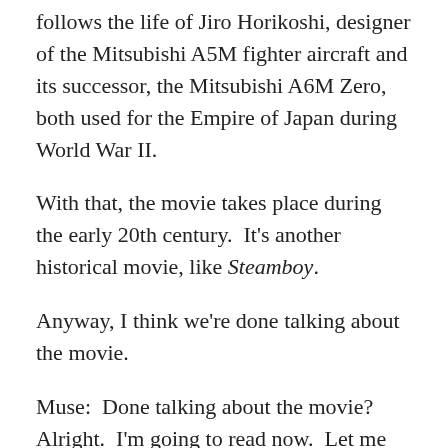follows the life of Jiro Horikoshi, designer of the Mitsubishi A5M fighter aircraft and its successor, the Mitsubishi A6M Zero, both used for the Empire of Japan during World War II.
With that, the movie takes place during the early 20th century.  It's another historical movie, like Steamboy.
Anyway, I think we're done talking about the movie.
Muse:  Done talking about the movie? Alright.  I'm going to read now.  Let me know when it comes on, as I want to see it with you!
I certainly will.  Don't worry.